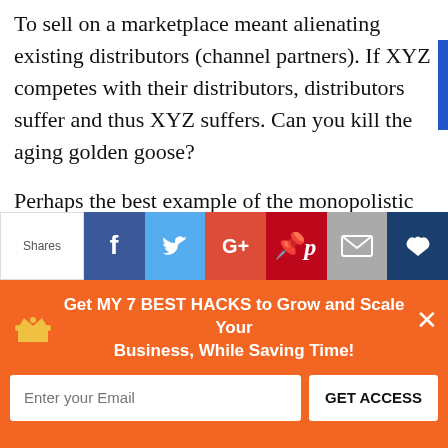To sell on a marketplace meant alienating existing distributors (channel partners). If XYZ competes with their distributors, distributors suffer and thus XYZ suffers. Can you kill the aging golden goose?
Perhaps the best example of the monopolistic power for this type of network is Microsoft. Microsoft owned the desktop and personal...
[Figure (infographic): Social share bar with Shares label and buttons for Facebook, Twitter, Google+, Pinterest, Email, and SumoMe]
[Figure (infographic): Orange popup banner: Get MY 7 BEST HACKS to Grow and Scale Your Business, While Saving Time! with email input and GET ACCESS button]